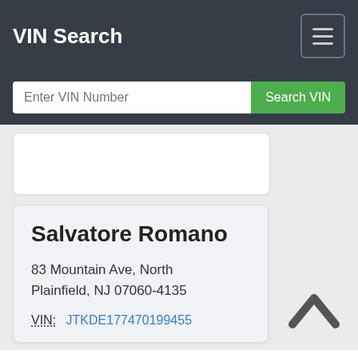VIN Search
Enter VIN Number   Search VIN
Salvatore Romano
83 Mountain Ave, North Plainfield, NJ 07060-4135
VIN: JTKDE177470199455